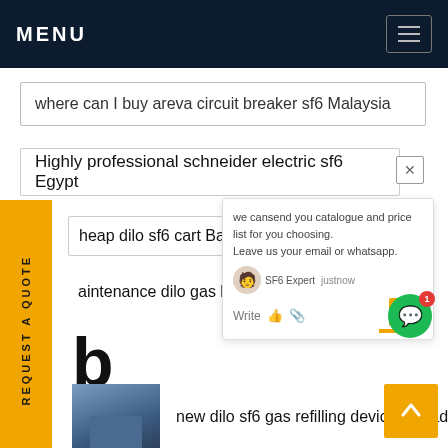MENU
where can I buy areva circuit breaker sf6 Malaysia
Highly professional schneider electric sf6 Egypt
heap dilo sf6 cart Bangladesh
aintenance dilo gas leak detector Ca
we cansend you catalogue and price list for you choosing. Leave us your email or whatsapp.
SF6 Expert   justnow
Write
REQUEST A QUOTE
b
[Figure (photo): Thumbnail image of industrial SF6 gas equipment]
new dilo sf6 gas refilling device Canada